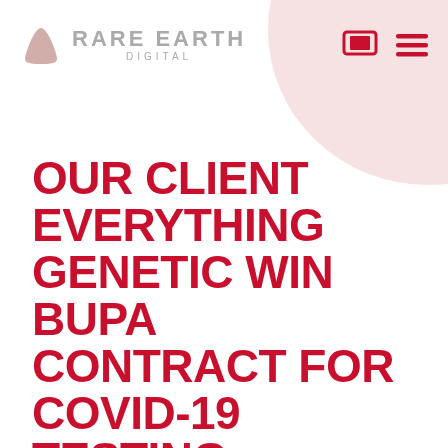RARE EARTH DIGITAL
OUR CLIENT EVERYTHING GENETIC WIN BUPA CONTRACT FOR COVID-19 TESTING
Feb 2021
Embracing technology during the pandemic has